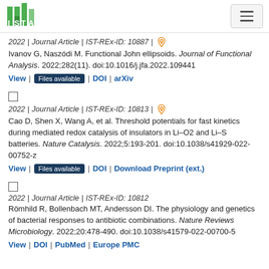ISTA logo and navigation menu
2022 | Journal Article | IST-REx-ID: 10887 | [open access icon]
Ivanov G, Naszódi M. Functional John ellipsoids. Journal of Functional Analysis. 2022;282(11). doi:10.1016/j.jfa.2022.109441
View | Files available | DOI | arXiv
2022 | Journal Article | IST-REx-ID: 10813 | [open access icon]
Cao D, Shen X, Wang A, et al. Threshold potentials for fast kinetics during mediated redox catalysis of insulators in Li–O2 and Li–S batteries. Nature Catalysis. 2022;5:193-201. doi:10.1038/s41929-022-00752-z
View | Files available | DOI | Download Preprint (ext.)
2022 | Journal Article | IST-REx-ID: 10812
Römhild R, Bollenbach MT, Andersson DI. The physiology and genetics of bacterial responses to antibiotic combinations. Nature Reviews Microbiology. 2022;20:478-490. doi:10.1038/s41579-022-00700-5
View | DOI | PubMed | Europe PMC